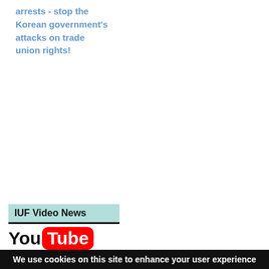arrests - stop the Korean government's attacks on trade union rights!
IUF Video News
[Figure (logo): YouTube logo: 'You' in black bold text followed by 'Tube' in white bold text on a red rounded rectangle background]
Check out the latest
We use cookies on this site to enhance your user experience